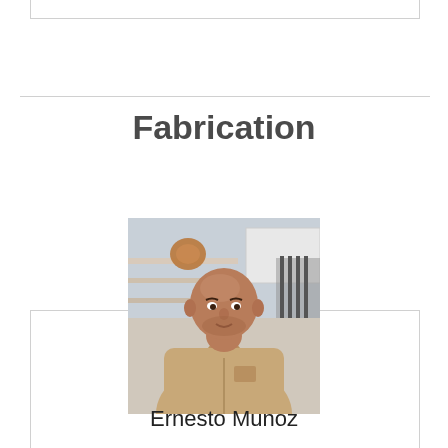Fabrication
[Figure (photo): Portrait photo of Ernesto Munoz in a khaki work shirt, standing in what appears to be a fabrication workshop with shelves and tools visible in the background.]
Ernesto Munoz